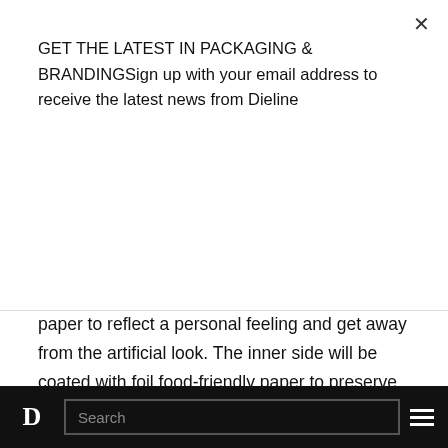GET THE LATEST IN PACKAGING & BRANDINGSign up with your email address to receive the latest news from Dieline
Subscribe
paper to reflect a personal feeling and get away from the artificial look. The inner side will be coated with foil food-friendly paper to preserve the chocolate flavor and deliver it in good quality.
The project takes a personal approach, by taking internationally used known icons (horoscopes) and displaying them in twelve colorful, artistic, modern and unique pack...
D  Search  ☰